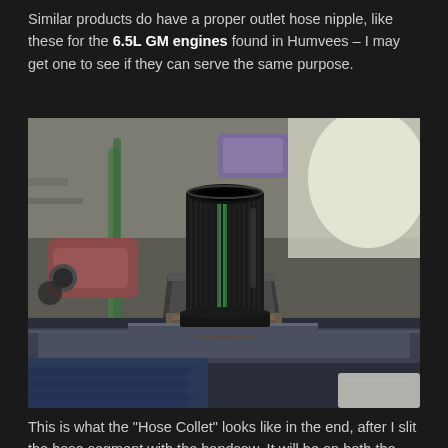Similar products do have a proper outlet hose nipple, like these for the 6.5L GM engines found in Humvees – I may get one to see if they can serve the same purpose.
[Figure (photo): Close-up photograph of a black cylindrical 3D-printed or molded rubber hose collet sitting on top of a metal pipe/bar held in a vise or clamp, in a workshop setting. The collet appears to have a slit cut down its side revealing a green inner layer. Workshop tools and equipment visible in the background.]
This is what the "Hose Collet" looks like in the end, after I slit the hose segment with the bandsaw. It will be on both the inlet (pictured) and outlet.